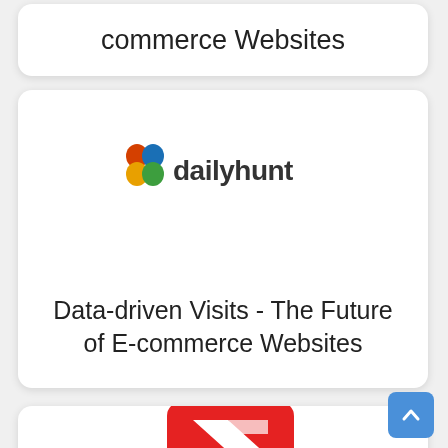commerce Websites
[Figure (logo): Dailyhunt logo with colorful grid icon and text 'dailyhunt']
Data-driven Visits - The Future of E-commerce Websites
[Figure (logo): Red rounded square app icon with white origami-style letter N]